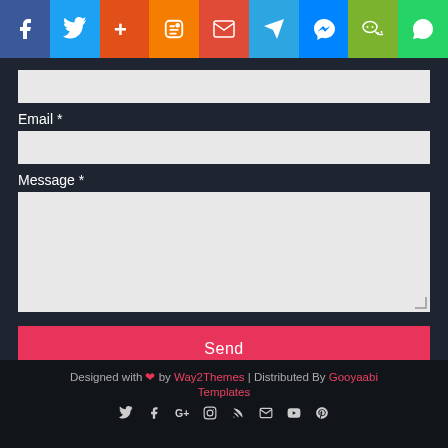[Figure (infographic): Social media sharing bar with icons: Facebook (dark blue), Twitter (light blue), Google+ (orange-red), Blogger (orange), Gmail (red), Telegram (blue), Messenger (blue), WeChat (green), WhatsApp (green)]
Email *
Message *
Send
Designed with ❤ by Way2Themes | Distributed By Gooyaabi Templates